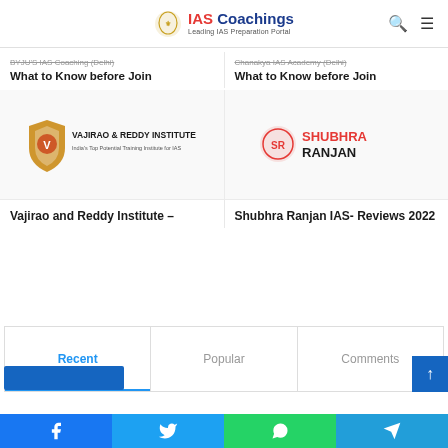IAS Coachings — Leading IAS Preparation Portal
BYJU'S IAS Coaching (Delhi) What to Know before Join
Chanakya IAS Academy (Delhi) What to Know before Join
[Figure (logo): Vajirao & Reddy Institute logo — shield emblem with text 'VAJIRAO & REDDY INSTITUTE' and subtitle 'India's Top Potential Training Institute for IAS']
[Figure (logo): Shubhra Ranjan logo — red circular emblem with 'SR' monogram and text 'SHUBHRA RANJAN' in red and dark letters]
Vajirao and Reddy Institute –
Shubhra Ranjan IAS- Reviews 2022
Recent
Popular
Comments